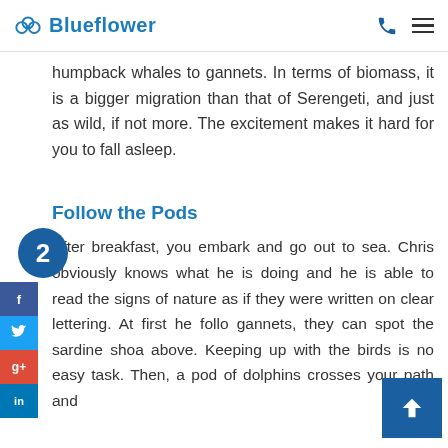Blueflower
humpback whales to gannets. In terms of biomass, it is a bigger migration than that of Serengeti, and just as wild, if not more. The excitement makes it hard for you to fall asleep.
Follow the Pods
After breakfast, you embark and go out to sea. Chris obviously knows what he is doing and he is able to read the signs of nature as if they were written on clear lettering. At first he follo gannets, they can spot the sardine shoa above. Keeping up with the birds is no easy task. Then, a pod of dolphins crosses your path and